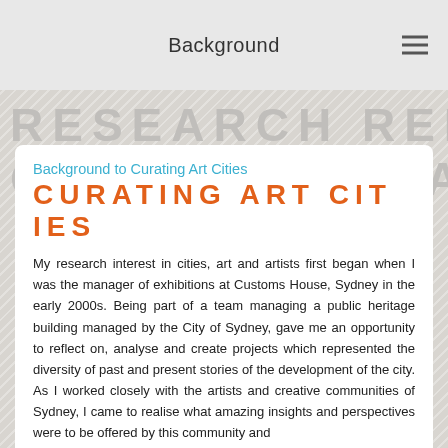Background
RESEARCH REFLECTION JOURNAL
Background to Curating Art Cities
CURATING ART CITIES
My research interest in cities, art and artists first began when I was the manager of exhibitions at Customs House, Sydney in the early 2000s. Being part of a team managing a public heritage building managed by the City of Sydney, gave me an opportunity to reflect on, analyse and create projects which represented the diversity of past and present stories of the development of the city. As I worked closely with the artists and creative communities of Sydney, I came to realise what amazing insights and perspectives were to be offered by this community and